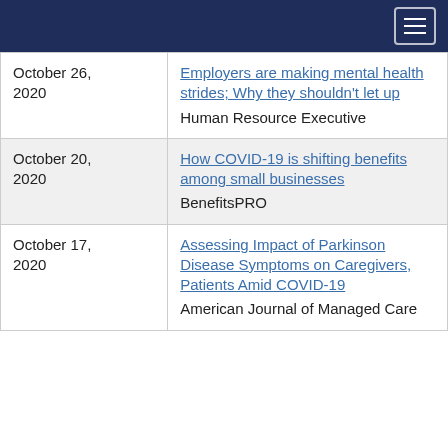Navigation header with hamburger menu
| Date | Article |
| --- | --- |
| October 26, 2020 | Employers are making mental health strides; Why they shouldn't let up
Human Resource Executive |
| October 20, 2020 | How COVID-19 is shifting benefits among small businesses
BenefitsPRO |
| October 17, 2020 | Assessing Impact of Parkinson Disease Symptoms on Caregivers, Patients Amid COVID-19
American Journal of Managed Care |